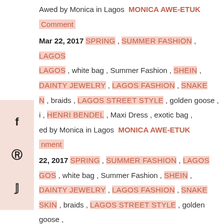Awed by Monica in Lagos  MONICA AWE-ETUK
Comment
Mar 22, 2017  SPRING , SUMMER FASHION , LAGOS LAGOS , white bag , Summer Fashion , SHEIN , DAINTY JEWELRY , LAGOS FASHION , SNAKE N , braids , LAGOS STREET STYLE , golden goose , i , HENRI BENDEL , Maxi Dress , exotic bag , ed by Monica in Lagos  MONICA AWE-ETUK nment
22, 2017  SPRING , SUMMER FASHION , LAGOS GOS , white bag , Summer Fashion , SHEIN , DAINTY JEWELRY , LAGOS FASHION , SNAKE SKIN , braids , LAGOS STREET STYLE , golden goose , maxi , HENRI BENDEL , Maxi Dress , exotic bag , Awed by Monica in Lagos  MONICA AWE-ET
BACK TO TOP ^